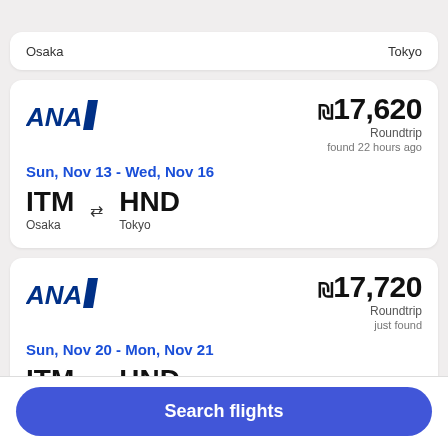Osaka — Tokyo
[Figure (logo): ANA airline logo]
₪17,620 Roundtrip found 22 hours ago
Sun, Nov 13 - Wed, Nov 16
ITM Osaka ⇄ HND Tokyo
[Figure (logo): ANA airline logo]
₪17,720 Roundtrip just found
Sun, Nov 20 - Mon, Nov 21
ITM Osaka ⇄ HND Tokyo
₪17,???
Search flights